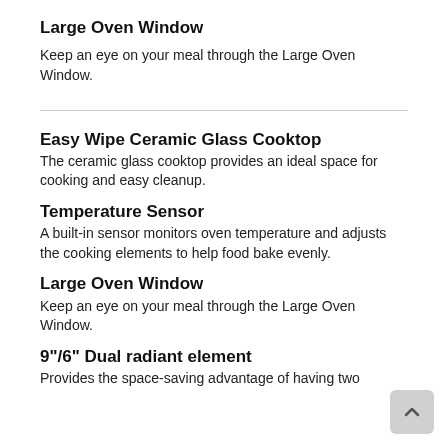Large Oven Window
Keep an eye on your meal through the Large Oven Window.
Easy Wipe Ceramic Glass Cooktop
The ceramic glass cooktop provides an ideal space for cooking and easy cleanup.
Temperature Sensor
A built-in sensor monitors oven temperature and adjusts the cooking elements to help food bake evenly.
Large Oven Window
Keep an eye on your meal through the Large Oven Window.
9"/6" Dual radiant element
Provides the space-saving advantage of having two